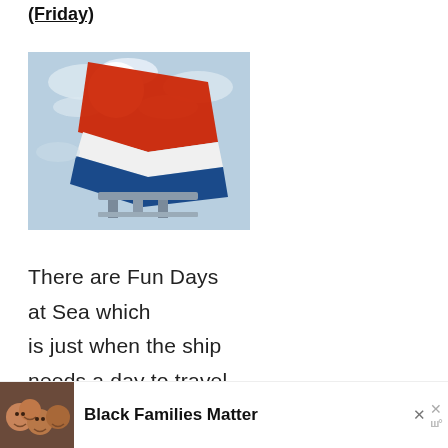(Friday)
[Figure (photo): Carnival cruise ship funnel/fin photographed from below against bright sky with clouds, showing red, white, and blue coloring]
There are Fun Days at Sea which is just when the ship needs a day to travel to get to the next p[ort]
[Figure (infographic): UI overlay: teal heart like button with count 1, share button; What's Next panel showing sunset thumbnail with label WHAT'S NEXT → Sunset]
[Figure (photo): Advertisement showing smiling family photo with text Black Families Matter and close X buttons]
Black Families Matter